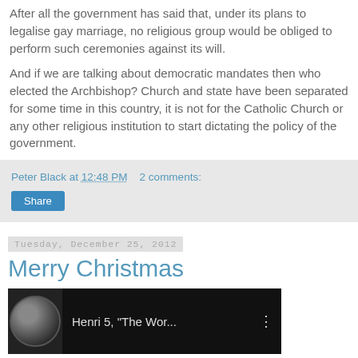After all the government has said that, under its plans to legalise gay marriage, no religious group would be obliged to perform such ceremonies against its will.
And if we are talking about democratic mandates then who elected the Archbishop? Church and state have been separated for some time in this country, it is not for the Catholic Church or any other religious institution to start dictating the policy of the government.
Peter Black at 12:48 PM   2 comments:
Share
Tuesday, December 25, 2012
Merry Christmas
[Figure (screenshot): Video thumbnail showing a cat image with text 'Henri 5, "The Wor...' and a menu dots icon on a dark background]